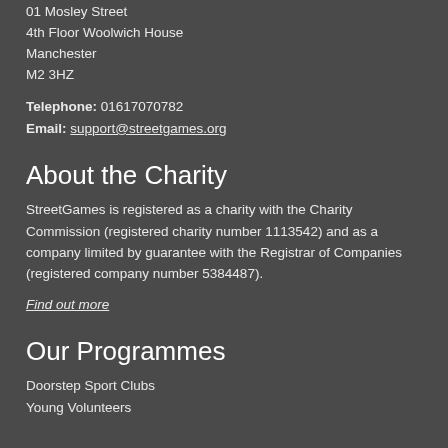01 Mosley Street
4th Floor Woolwich House
Manchester
M2 3HZ
Telephone: 01617070782
Email: support@streetgames.org
About the Charity
StreetGames is registered as a charity with the Charity Commission (registered charity number 1113542) and as a company limited by guarantee with the Registrar of Companies (registered company number 5384487).
Find out more
Our Programmes
Doorstep Sport Clubs
Young Volunteers